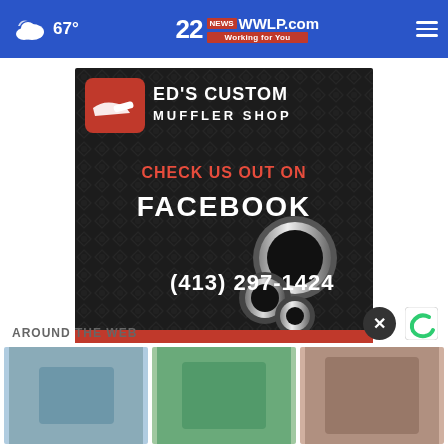67° WWWLP.com Working for You
[Figure (photo): Ed's Custom Muffler Shop advertisement on dark diamond-plate background. Text reads: CHECK US OUT ON FACEBOOK, (413) 297-1424, 100 VERGE ST, SPRINGFIELD. Red and white logo with muffler graphic.]
AROUND THE WEB